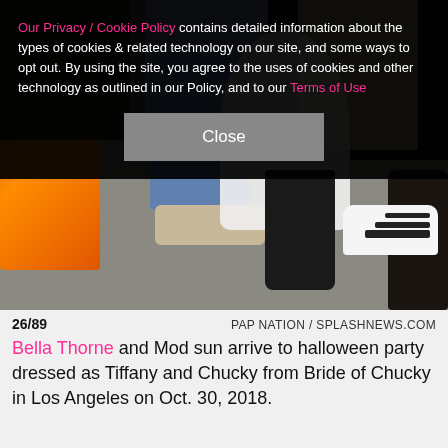Our Privacy / Cookie Policy contains detailed information about the types of cookies & related technology on our site, and some ways to opt out. By using the site, you agree to the uses of cookies and other technology as outlined in our Policy, and to our Terms of Use
[Figure (photo): Legs and feet of people at a Halloween party. Center shows white tulle skirt with black boots, left shows jeans with sparkly sneakers, right shows white Adidas sneakers, left edge shows orange jacket, right edge shows dark boots, concrete floor visible.]
26/89   PAP NATION / SPLASHNEWS.COM
Bella Thorne and Mod sun arrive to halloween party dressed as Tiffany and Chucky from Bride of Chucky in Los Angeles on Oct. 30, 2018.